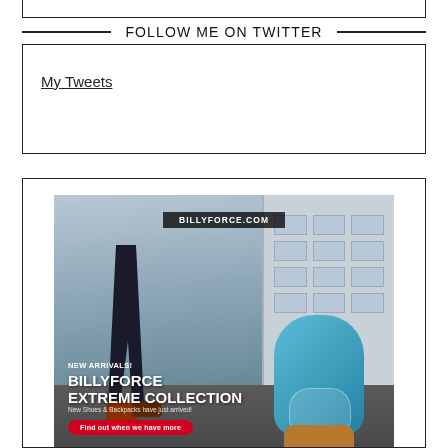FOLLOW ME ON TWITTER
My Tweets
[Figure (illustration): BillyForce advertisement banner showing the BillyForce Extreme Collection with new shoes and backpacks. URL 'BILLYFORCE.COM' shown at top. Text overlays: 'NEW ARRIVALS!', 'BILLYFORCE EXTREME COLLECTION', 'New Shoes & Backpacks have just arrived!', red CTA button 'Find out when we have more'. Background shows street scene with person's legs and blue/orange backpack.]